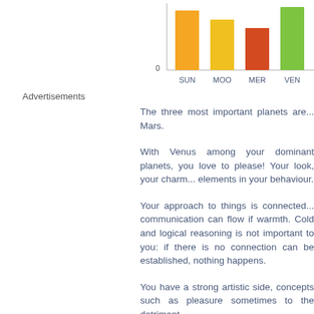[Figure (bar-chart): Dominant Planets]
Advertisements
The three most important pla... Mars.
With Venus among your domi... elements in your behaviour.
Your approach to things is co... nothing happens.
You have a strong artistic side... concepts such as pleasure... sometimes to the detrime...